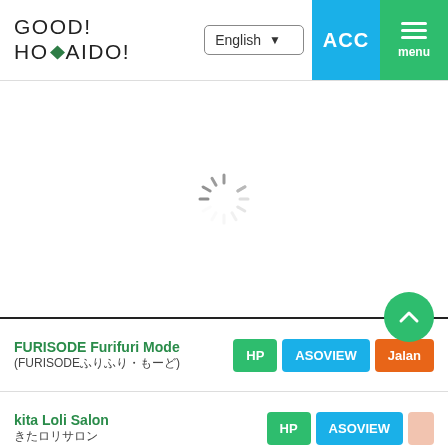[Figure (logo): GOOD! HOKKAIDO! logo with a green diamond shape replacing the 'K' character, in black sans-serif font]
English (language selector dropdown)
ACC
menu
[Figure (other): Loading spinner icon in gray, circular dashed lines]
FURISODE Furifuri Mode
(FURISODEふりふり・もーど)
HP | ASOVIEW | Jalan
kita Loli Salon
HP | ASOVIEW